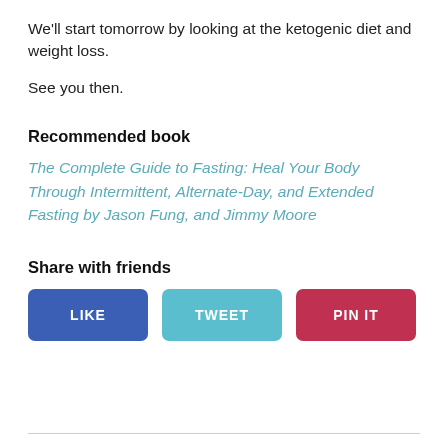We'll start tomorrow by looking at the ketogenic diet and weight loss.
See you then.
Recommended book
The Complete Guide to Fasting: Heal Your Body Through Intermittent, Alternate-Day, and Extended Fasting by Jason Fung, and Jimmy Moore
Share with friends
[Figure (other): Three social sharing buttons: LIKE (blue), TWEET (teal), PIN IT (red)]